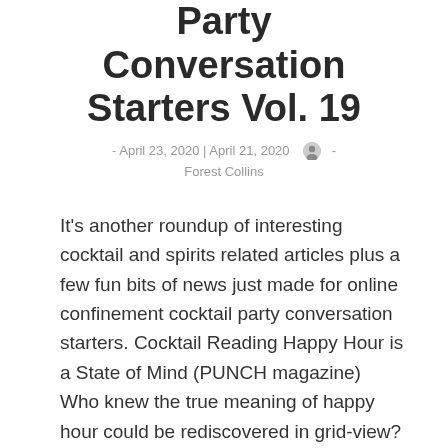Party Conversation Starters Vol. 19
- April 23, 2020 | April 21, 2020  [user icon]  - Forest Collins
It's another roundup of interesting cocktail and spirits related articles plus a few fun bits of news just made for online confinement cocktail party conversation starters. Cocktail Reading Happy Hour is a State of Mind (PUNCH magazine) Who knew the true meaning of happy hour could be rediscovered in grid-view? What COVID-19 confinement has meant [...]